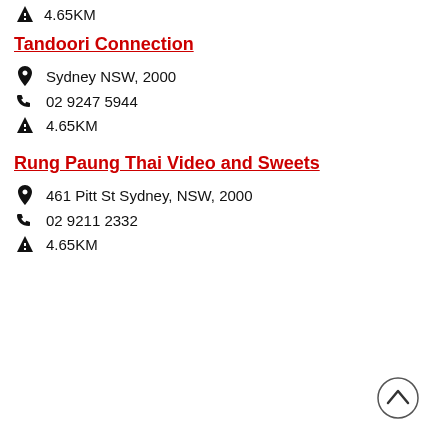4.65KM
Tandoori Connection
Sydney NSW, 2000
02 9247 5944
4.65KM
Rung Paung Thai Video and Sweets
461 Pitt St Sydney, NSW, 2000
02 9211 2332
4.65KM